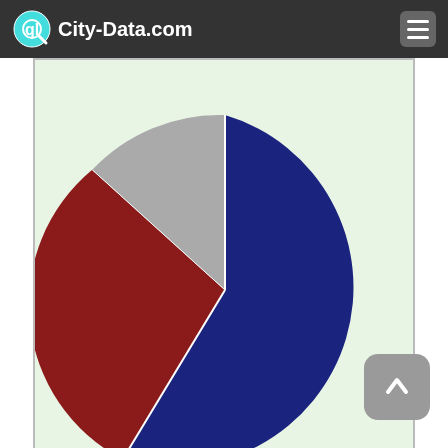City-Data.com
[Figure (pie-chart): 2020 Presidential Election Results]
Biden (63.4%)   Trump (34.4%)   Other (2.2%)
Graphs represent county-level data. Detailed 2008 Election Results
Political contributions by individuals in Essex